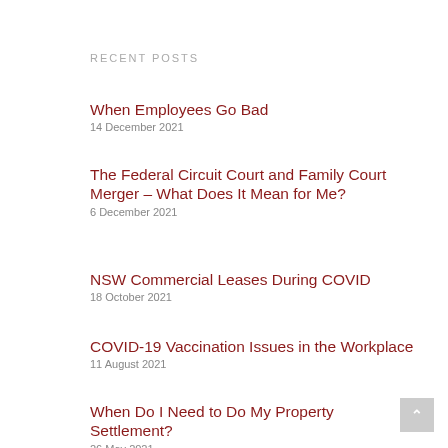RECENT POSTS
When Employees Go Bad
14 December 2021
The Federal Circuit Court and Family Court Merger – What Does It Mean for Me?
6 December 2021
NSW Commercial Leases During COVID
18 October 2021
COVID-19 Vaccination Issues in the Workplace
11 August 2021
When Do I Need to Do My Property Settlement?
26 May 2021